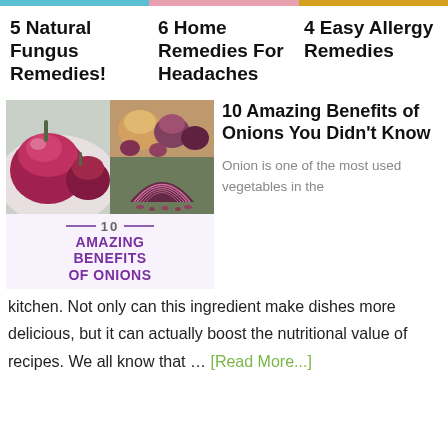[Figure (other): Decorative colored top bar with three segments: blue, pink/salmon, gold]
5 Natural Fungus Remedies!
6 Home Remedies For Headaches
4 Easy Allergy Remedies
[Figure (photo): Composite image of red/purple onions with overlaid text '10 Amazing Benefits of Onions']
10 Amazing Benefits of Onions You Didn't Know
Onion is one of the most used vegetables in the kitchen. Not only can this ingredient make dishes more delicious, but it can actually boost the nutritional value of recipes. We all know that … [Read More...]